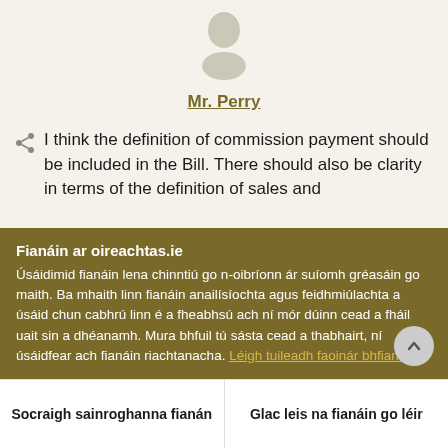[Figure (illustration): User avatar icon — circle head above a torso/shoulder shape, rendered in muted beige/tan colors]
Mr. Perry
I think the definition of commission payment should be included in the Bill. There should also be clarity in terms of the definition of sales and
Fianáin ar oireachtas.ie
Úsáidimid fianáin lena chinntiú go n-oibríonn ár suíomh gréasáin go maith. Ba mhaith linn fianáin anailísíochta agus feidhmiúlachta a úsáid chun cabhrú linn é a fheabhsú ach ní mór dúinn cead a fháil uait sin a dhéanamh. Mura bhfuil tú sásta cead a thabhairt, ní úsáidfear ach fianáin riachtanacha. Léigh tuileadh faoinár bhfianáin
Socraigh sainroghanna fianán
Glac leis na fianáin go léir